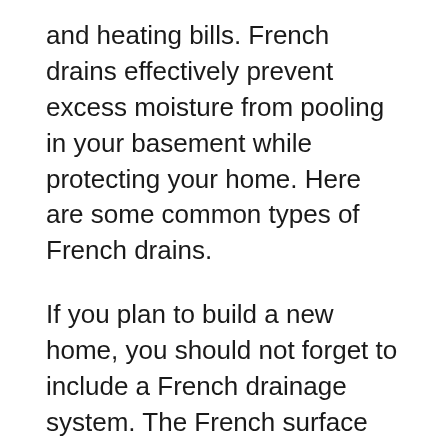and heating bills. French drains effectively prevent excess moisture from pooling in your basement while protecting your home. Here are some common types of French drains.
If you plan to build a new home, you should not forget to include a French drainage system. The French surface drains are best suited for homes that are attached to the house. These types of surface drains are also known as French box drains or French sluices.
Another type of French drain is the gravel system. The gravel French drain pipe system can be made of either concrete or stone. The rock is placed at the bottom of the French drainpipe. As water flows,